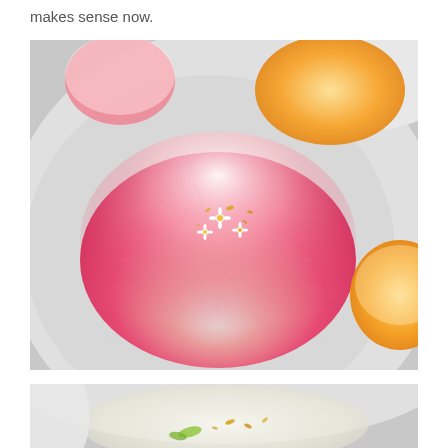makes sense now.
[Figure (photo): Close-up photograph of colorful jelly/gelatin desserts on white plates. The main focus is a round, flat jelly with a pink-to-white gradient, decorated with small daisy flowers and gold flakes. In the background are yellow/orange jellies. The plate is white and circular.]
[Figure (photo): Partial view of another white plate with a translucent jelly/gelatin dessert topped with green and gold garnishes, partially cropped at the bottom of the page.]